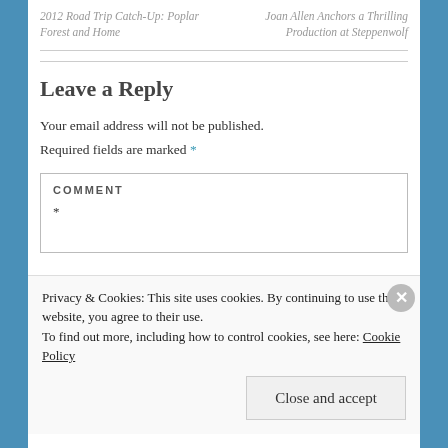2012 Road Trip Catch-Up: Poplar Forest and Home | Joan Allen Anchors a Thrilling Production at Steppenwolf
Leave a Reply
Your email address will not be published. Required fields are marked *
COMMENT *
Privacy & Cookies: This site uses cookies. By continuing to use this website, you agree to their use. To find out more, including how to control cookies, see here: Cookie Policy
Close and accept